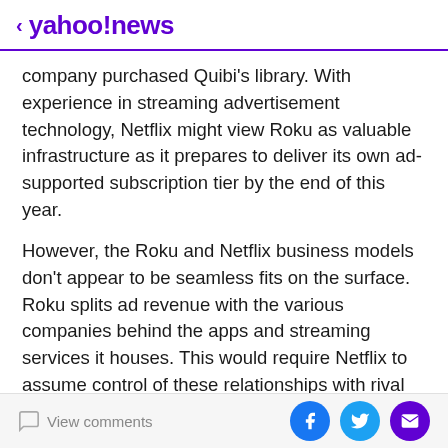< yahoo!news
company purchased Quibi's library. With experience in streaming advertisement technology, Netflix might view Roku as valuable infrastructure as it prepares to deliver its own ad-supported subscription tier by the end of this year.
However, the Roku and Netflix business models don't appear to be seamless fits on the surface. Roku splits ad revenue with the various companies behind the apps and streaming services it houses. This would require Netflix to assume control of these relationships with rival studios.
Also Read:
View comments